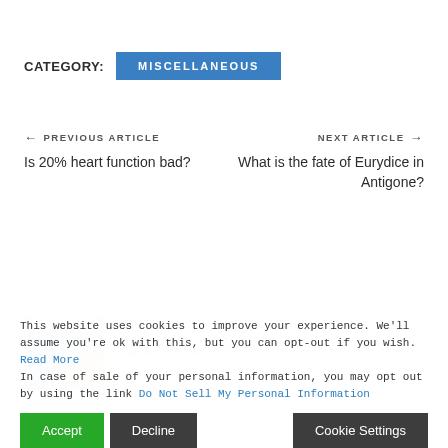CATEGORY: MISCELLANEOUS
← PREVIOUS ARTICLE
Is 20% heart function bad?
NEXT ARTICLE →
What is the fate of Eurydice in Antigone?
RECENT POSTS
Top Wes Anderson Films
This website uses cookies to improve your experience. We'll assume you're ok with this, but you can opt-out if you wish. Read More
In case of sale of your personal information, you may opt out by using the link Do Not Sell My Personal Information